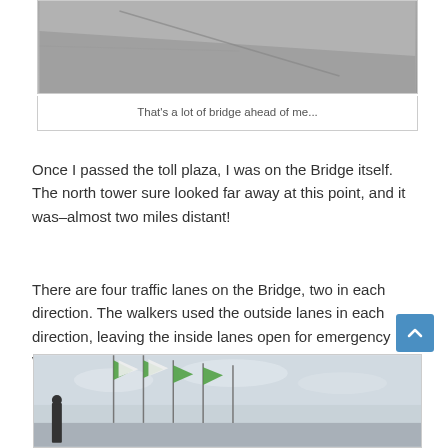[Figure (photo): Close-up photograph of concrete bridge surface showing a crack or expansion joint]
That's a lot of bridge ahead of me...
Once I passed the toll plaza, I was on the Bridge itself. The north tower sure looked far away at this point, and it was–almost two miles distant!
There are four traffic lanes on the Bridge, two in each direction. The walkers used the outside lanes in each direction, leaving the inside lanes open for emergency vehicles. At the early hour that I started, nobody from Mackinaw City had yet made it across to our side, so the rightmost lane was still empty.
[Figure (photo): Photo of people walking on the Mackinac Bridge with bridge cables and flags visible]